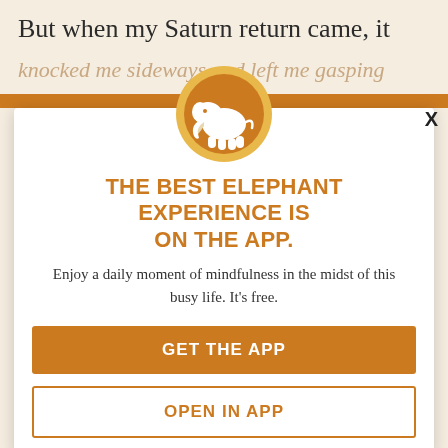But when my Saturn return came, it
knocked me sideways and left me gasping for breath, unable to breathe or move. Suddenly, everything seemed really intense and really urgent. Like if I didn't do doomed to fall. Many times I found myself at 29, withdrawn and emotionally turbulent, wondering if my therapist hadn't been mistaken that she said I was mentally sound. Saturn return came...
[Figure (logo): White elephant silhouette on orange circle with yellow outer ring — Elephant app logo]
THE BEST ELEPHANT EXPERIENCE IS ON THE APP.
Enjoy a daily moment of mindfulness in the midst of this busy life. It's free.
GET THE APP
OPEN IN APP